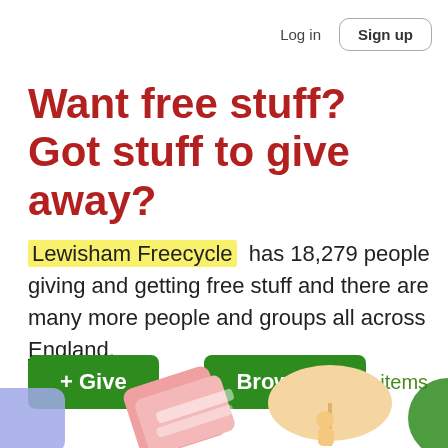Log in   Sign up
Want free stuff?
Got stuff to give away?
Lewisham Freecycle has 18,279 people giving and getting free stuff and there are many more people and groups all across England.
+ Give  or  Browse »  items
[Figure (illustration): Decorative illustrated icons at the bottom of the page: a blue shape on left, a pink stack of books/cards in center-left, a peach/orange umbrella with a person on right, and a partial green circle on far right.]